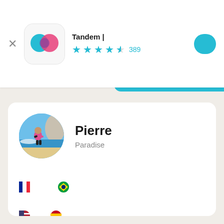[Figure (screenshot): App store header showing Tandem app with icon, rating stars (4.5 stars, 389 reviews), and install button in teal/cyan color]
Pierre
Paradise
언어 (with French flag and Brazilian flag icons)
학습 (with US flag and Spanish flag icons)
피에르 의 소개
Je ne sais pas, je ne comprends pas cette question,